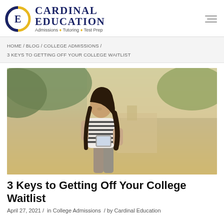CARDINAL EDUCATION — Admissions • Tutoring • Test Prep
HOME / BLOG / COLLEGE ADMISSIONS / 3 KEYS TO GETTING OFF YOUR COLLEGE WAITLIST
[Figure (photo): Young woman with long dark hair wearing a striped t-shirt, looking at a tablet device outdoors on a college campus with trees and a building visible in the blurred background.]
3 Keys to Getting Off Your College Waitlist
April 27, 2021 / in College Admissions / by Cardinal Education